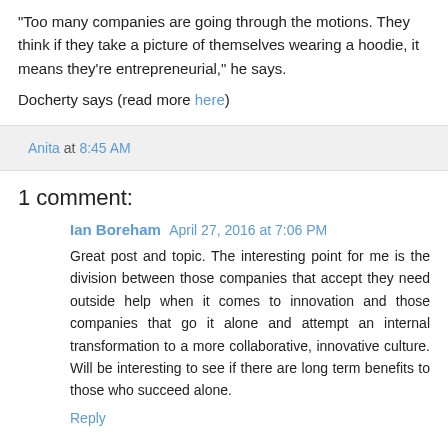“Too many companies are going through the motions. They think if they take a picture of themselves wearing a hoodie, it means they’re entrepreneurial,” he says.
Docherty says (read more here)
Anita at 8:45 AM
1 comment:
Ian Boreham  April 27, 2016 at 7:06 PM
Great post and topic. The interesting point for me is the division between those companies that accept they need outside help when it comes to innovation and those companies that go it alone and attempt an internal transformation to a more collaborative, innovative culture. Will be interesting to see if there are long term benefits to those who succeed alone.
Reply